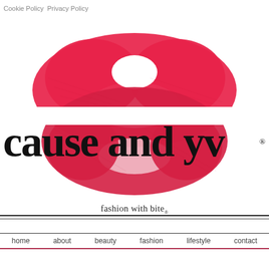Cookie Policy  Privacy Policy
[Figure (logo): Red lipstick kiss mark / lips logo with the brand name 'cause and yv' overlaid in large bold serif font with a registered trademark symbol]
fashion with bite®
home   about   beauty  fashion  lifestyle  contact